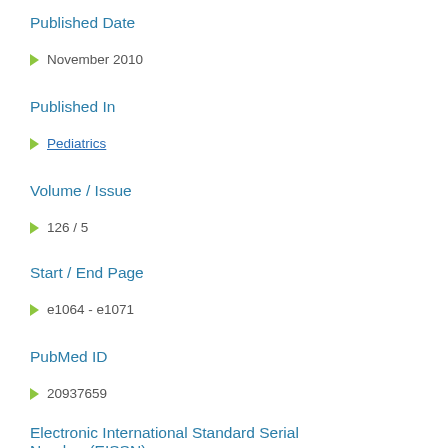Published Date
November 2010
Published In
Pediatrics
Volume / Issue
126 / 5
Start / End Page
e1064 - e1071
PubMed ID
20937659
Electronic International Standard Serial Number (EISSN)
1098-4275